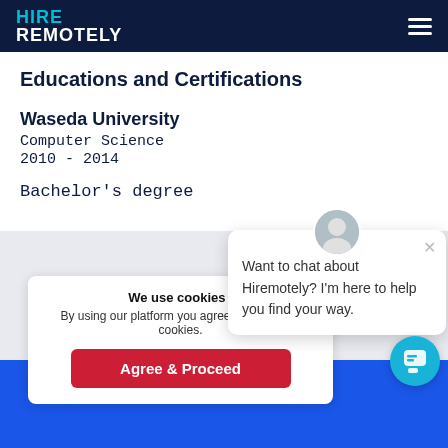HIRE REMOTELY
Educations and Certifications
Waseda University
Computer Science
2010 - 2014

Bachelor's degree
We use cookies i...
By using our platform you agree to our use of cookies.
Want to chat about Hiremotely? I'm here to help you find your way.